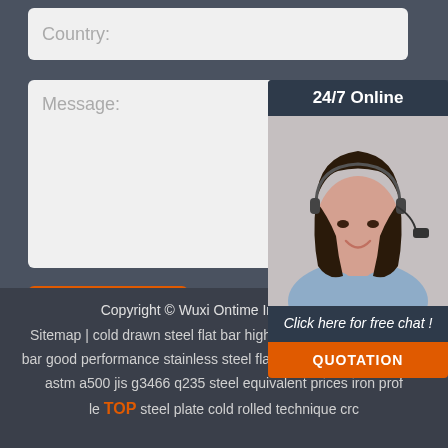Country:
Message:
[Figure (photo): Customer service representative with headset, smiling. 24/7 Online chat widget with QUOTATION button.]
Submit Now
Copyright © Wuxi Ontime Industrial C… Sitemap | cold drawn steel flat bar high quality factory price flat bar good performance stainless steel flat steel | square steel tube astm a500 jis g3466 q235 steel equivalent prices iron profile steel plate cold rolled technique crc